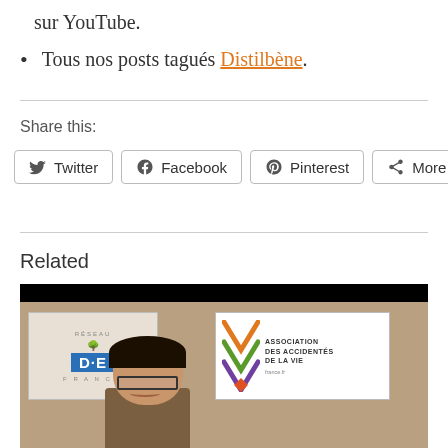sur YouTube.
Tous nos posts tagués Distilbène.
Share this:
[Figure (screenshot): Share buttons for Twitter, Facebook, Pinterest, and More]
Related
[Figure (photo): Video thumbnail showing a man with glasses in front of two signs: Réseau D.E France and Association des Accidentés de la Vie]